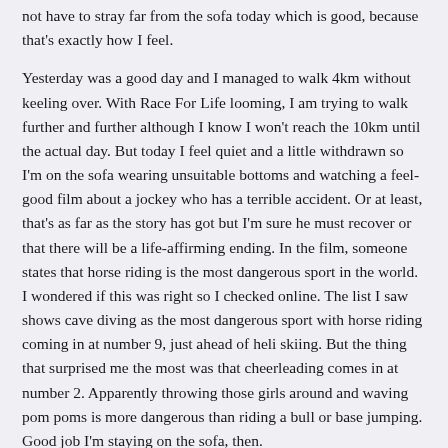not have to stray far from the sofa today which is good, because that's exactly how I feel.
Yesterday was a good day and I managed to walk 4km without keeling over. With Race For Life looming, I am trying to walk further and further although I know I won't reach the 10km until the actual day. But today I feel quiet and a little withdrawn so I'm on the sofa wearing unsuitable bottoms and watching a feel-good film about a jockey who has a terrible accident. Or at least, that's as far as the story has got but I'm sure he must recover or that there will be a life-affirming ending. In the film, someone states that horse riding is the most dangerous sport in the world. I wondered if this was right so I checked online. The list I saw shows cave diving as the most dangerous sport with horse riding coming in at number 9, just ahead of heli skiing. But the thing that surprised me the most was that cheerleading comes in at number 2. Apparently throwing those girls around and waving pom poms is more dangerous than riding a bull or base jumping. Good job I'm staying on the sofa, then.
Something else that ocurred to me the other day was that cats wouldn't get trodden on so often if they weren't so competitive and didn't try to stay in front all the time. Bunty spends a lot of her day trying to predict where I